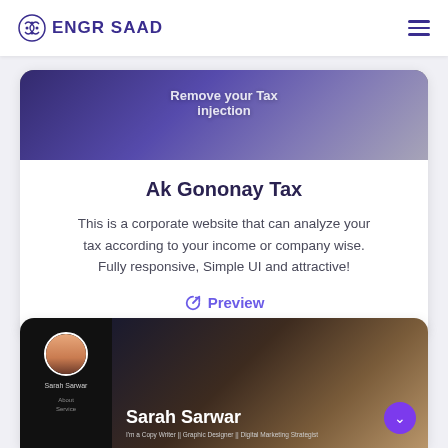ENGR SAAD
[Figure (screenshot): Screenshot of tax website with purple gradient background, partially visible]
Ak Gononay Tax
This is a corporate website that can analyze your tax according to your income or company wise. Fully responsive, Simple UI and attractive!
Preview
[Figure (screenshot): Screenshot of Sarah Sarwar portfolio website with dark sidebar showing avatar and name, main area showing name text over moody background photo]